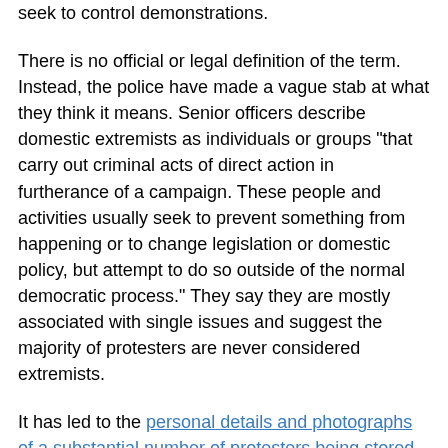seek to control demonstrations.
There is no official or legal definition of the term. Instead, the police have made a vague stab at what they think it means. Senior officers describe domestic extremists as individuals or groups “that carry out criminal acts of direct action in furtherance of a campaign. These people and activities usually seek to prevent something from happening or to change legislation or domestic policy, but attempt to do so outside of the normal democratic process.” They say they are mostly associated with single issues and suggest the majority of protesters are never considered extremists.
It has led to the personal details and photographs of a substantial number of protesters being stored on secret police databases around the country. In this era of enhanced CRB checks, anyone who goes on a demo not only risks their health from thugs with batons, but also risks their future career in any sensitive area. Anyone who wants to be a teacher, a criminal lawyer, to serve in the forces, or to join the police, is taking a chance if they stand up for what they